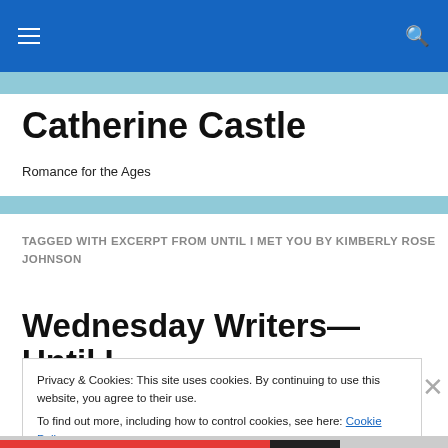Catherine Castle — navigation bar with hamburger menu and search icon
Catherine Castle
Romance for the Ages
TAGGED WITH EXCERPT FROM UNTIL I MET YOU BY KIMBERLY ROSE JOHNSON
Wednesday Writers—Until I
Privacy & Cookies: This site uses cookies. By continuing to use this website, you agree to their use. To find out more, including how to control cookies, see here: Cookie Policy
Close and accept